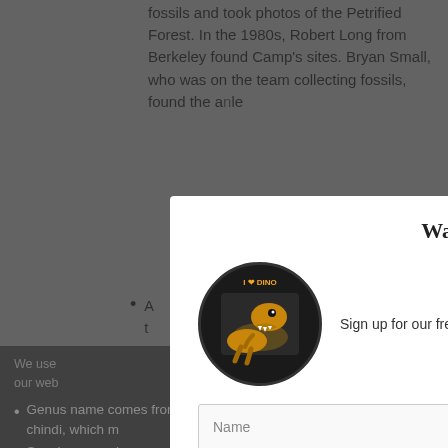fossils and took photos of the Petrified Forest. In the 1980s, Robert Long from Berkeley found Camp's sites. Bryan Small, who was on the team collecting fossils, found the ankle
A ... was t... found
h... C...
A ... "r", h... nd
D... Murry
[Figure (screenshot): Modal popup with title 'Want more dinosaurs?', a dinosaur book logo image, description text, Name input field, Email input field, and orange Subscribe button]
We use ... nce on our web... hat you
Genus name comes from the Navajo word chindi, which m... t" or "evil spirit"
Species name h... Bryan Small, who found the he...
Ok